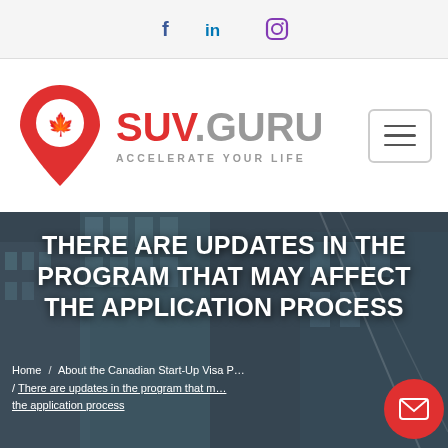f  in  (instagram icon)
[Figure (logo): SUV.GURU logo with red map pin icon containing a maple leaf and text SUV.GURU ACCELERATE YOUR LIFE, plus hamburger menu button]
[Figure (photo): City building glass skyscraper background image with overlaid white bold uppercase text: THERE ARE UPDATES IN THE PROGRAM THAT MAY AFFECT THE APPLICATION PROCESS. Breadcrumb navigation at bottom: Home / About the Canadian Start-Up Visa P... / There are updates in the program that m... the application process. Red circular mail button bottom right.]